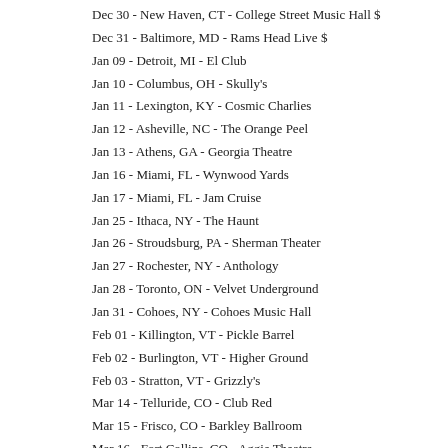Dec 30 - New Haven, CT - College Street Music Hall $
Dec 31 - Baltimore, MD - Rams Head Live $
Jan 09 - Detroit, MI - El Club
Jan 10 - Columbus, OH - Skully's
Jan 11 - Lexington, KY - Cosmic Charlies
Jan 12 - Asheville, NC - The Orange Peel
Jan 13 - Athens, GA - Georgia Theatre
Jan 16 - Miami, FL - Wynwood Yards
Jan 17 - Miami, FL - Jam Cruise
Jan 25 - Ithaca, NY - The Haunt
Jan 26 - Stroudsburg, PA - Sherman Theater
Jan 27 - Rochester, NY - Anthology
Jan 28 - Toronto, ON - Velvet Underground
Jan 31 - Cohoes, NY - Cohoes Music Hall
Feb 01 - Killington, VT - Pickle Barrel
Feb 02 - Burlington, VT - Higher Ground
Feb 03 - Stratton, VT - Grizzly's
Mar 14 - Telluride, CO - Club Red
Mar 15 - Frisco, CO - Barkley Ballroom
Mar 16 - Fort Collins, CO - Aggie Theatre
Mar 17 - Steamboat Springs, CO - Gondola Plaza